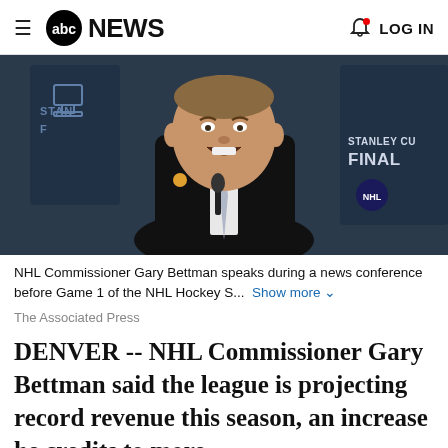abc NEWS  LOG IN
[Figure (photo): NHL Commissioner Gary Bettman speaking at a podium with Stanley Cup Final branding in the background, wearing a black suit and gray tie]
NHL Commissioner Gary Bettman speaks during a news conference before Game 1 of the NHL Hockey S...  Show more
The Associated Press
DENVER -- NHL Commissioner Gary Bettman said the league is projecting record revenue this season, an increase he credits to more